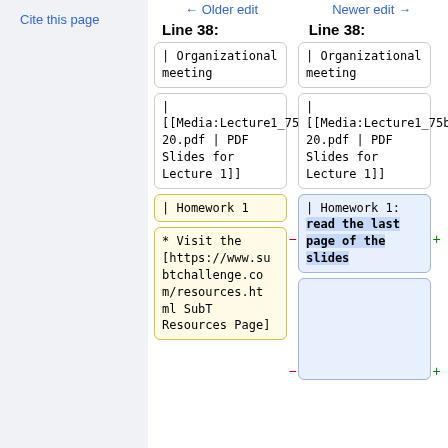Cite this page
← Older edit
Newer edit →
Line 38:
Line 38:
| Organizational meeting
| Organizational meeting
| [[Media:Lecture1_75b_19-20.pdf | PDF Slides for Lecture 1]]
| [[Media:Lecture1_75b_19-20.pdf | PDF Slides for Lecture 1]]
| Homework 1
| Homework 1: read the last page of the slides
* Visit the [https://www.subtchallenge.com/resources.html SubT Resources Page]